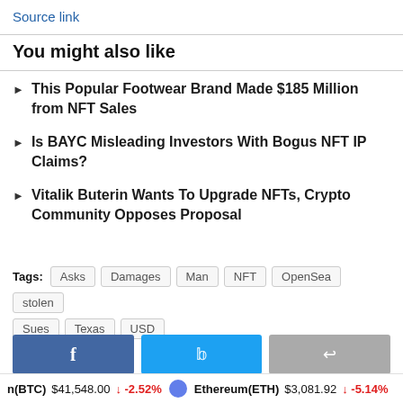Source link
You might also like
This Popular Footwear Brand Made $185 Million from NFT Sales
Is BAYC Misleading Investors With Bogus NFT IP Claims?
Vitalik Buterin Wants To Upgrade NFTs, Crypto Community Opposes Proposal
Tags: Asks, Damages, Man, NFT, OpenSea, stolen, Sues, Texas, USD
Bitcoin(BTC) $41,548.00 ↓ -2.52% Ethereum(ETH) $3,081.92 ↓ -5.14%